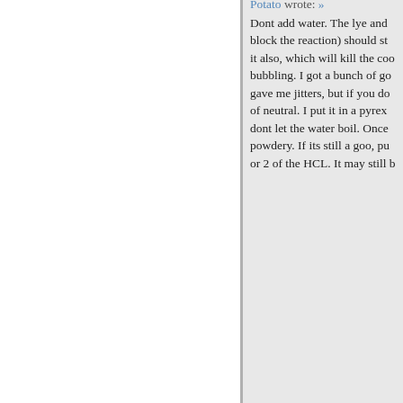Potato wrote: » Dont add water. The lye and block the reaction) should st it also, which will kill the coo bubbling. I got a bunch of go gave me jitters, but if you do of neutral. I put it in a pyrex dont let the water boil. Once powdery. If its still a goo, pu or 2 of the HCL. It may still b
Potato wrote: » Dont add water. The lye and block the reaction) should st it also, which will kill the coo bubbling. I got a bunch of go gave me jitters, but if you do of neutral. I put it in a pyrex dont let the water boil. Once powdery. If its still a goo, pu or 2 of the HCL. It may still b